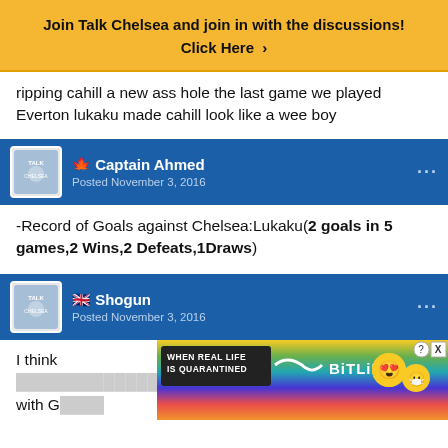[Figure (infographic): Yellow banner ad: Join Talk Chelsea and join in with the discussions! Click Here with chevron arrow]
ripping cahill a new ass hole the last game we played Everton lukaku made cahill look like a wee boy
Captain Ahmed — Posted November 3, 2016
-Record of Goals against Chelsea:Lukaku(2 goals in 5 games,2 Wins,2 Defeats,1Draws)
Shogun — Posted November 3, 2016
I think [partially obscured by ad] ion with Ga[partially obscured]
[Figure (infographic): BitLife advertisement: WHEN REAL LIFE IS QUARANTINED BitLife with emoji characters and colorful rainbow striped background. Has close X and ? buttons.]